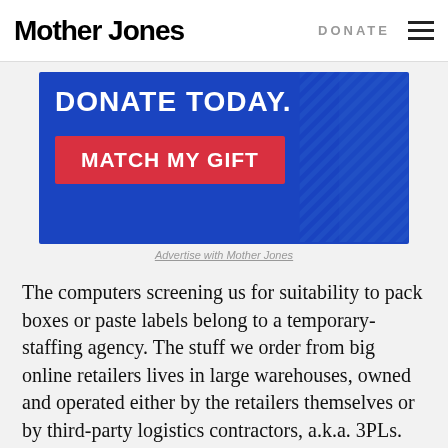Mother Jones | DONATE
[Figure (other): Advertisement banner with blue background reading 'DONATE TODAY.' and red button 'MATCH MY GIFT']
Advertise with Mother Jones
The computers screening us for suitability to pack boxes or paste labels belong to a temporary-staffing agency. The stuff we order from big online retailers lives in large warehouses, owned and operated either by the retailers themselves or by third-party logistics contractors, a.k.a. 3PLs. These companies often fulfill orders for more than one retailer out of a single warehouse. America's largest 3PL, Exel, has